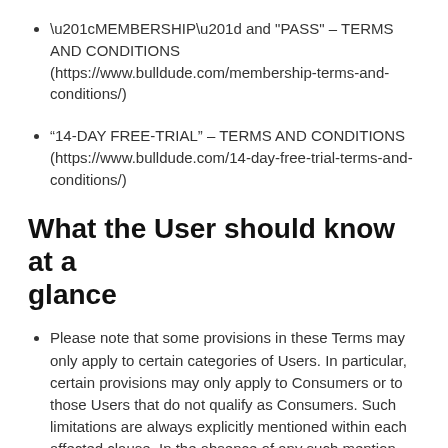“MEMBERSHIP” and “PASS” – TERMS AND CONDITIONS (https://www.bulldude.com/membership-terms-and-conditions/)
“14-DAY FREE-TRIAL” – TERMS AND CONDITIONS (https://www.bulldude.com/14-day-free-trial-terms-and-conditions/)
What the User should know at a glance
Please note that some provisions in these Terms may only apply to certain categories of Users. In particular, certain provisions may only apply to Consumers or to those Users that do not qualify as Consumers. Such limitations are always explicitly mentioned within each affected clause. In the absence of any such mention, clauses apply to all Users.
BullDude.com uses automatic renewal for Product